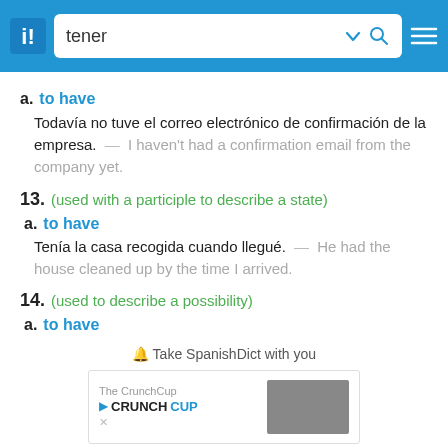[Figure (screenshot): App header bar with SpanishDict logo, search box showing 'tener', dropdown arrow, search icon, and hamburger menu]
a. to have
Todavía no tuve el correo electrónico de confirmación de la empresa. — I haven't had a confirmation email from the company yet.
13. (used with a participle to describe a state)
a. to have
Tenía la casa recogida cuando llegué. — He had the house cleaned up by the time I arrived.
14. (used to describe a possibility)
a. to have
🔔 Take SpanishDict with you
[Figure (screenshot): Advertisement banner for The CrunchCup with logo and image placeholder]